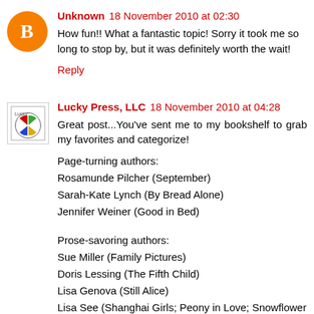[Figure (illustration): Orange circle avatar with white blogger 'B' icon]
Unknown 18 November 2010 at 02:30
How fun!! What a fantastic topic! Sorry it took me so long to stop by, but it was definitely worth the wait!
Reply
[Figure (logo): Lucky Press LLC logo - colorful cross/quadrant design in a square border]
Lucky Press, LLC 18 November 2010 at 04:28
Great post...You've sent me to my bookshelf to grab my favorites and categorize!
Page-turning authors:
Rosamunde Pilcher (September)
Sarah-Kate Lynch (By Bread Alone)
Jennifer Weiner (Good in Bed)
Prose-savoring authors:
Sue Miller (Family Pictures)
Doris Lessing (The Fifth Child)
Lisa Genova (Still Alice)
Lisa See (Shanghai Girls; Peony in Love; Snowflower and the Secret Fan)